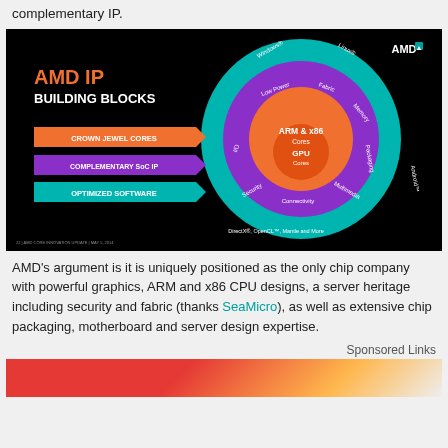complementary IP.
[Figure (infographic): AMD IP Building Blocks diagram with concentric circles. Center: GPU Cores (orange), surrounded by ARM & x86 Cores (orange). Middle ring (purple): Low Power, Fabric, Memory, Packaging, Multimedia, Connectivity, Security, I/O. Outer ring (teal): Windows, Linux, Android, Mantle and More, DirectX/OpenCL, along with labels for Complementary SoC IP and Optimized Software. Left side shows three labeled arrows: Crown Jewel Cores (orange), Complementary SoC IP (purple), Optimized Software (teal). AMD logo top right.]
AMD’s argument is it is uniquely positioned as the only chip company with powerful graphics, ARM and x86 CPU designs, a server heritage including security and fabric (thanks SeaMicro), as well as extensive chip packaging, motherboard and server design expertise.
Sponsored Links
[Figure (photo): Partial photo visible at bottom of page, showing red and striped clothing, person.]